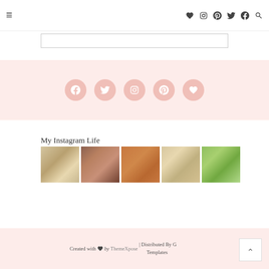≡  ♥  Instagram  Pinterest  Twitter  Facebook  Search
[Figure (screenshot): Search input box, empty, with border]
[Figure (infographic): Pink background strip with 5 social media icon circles (Facebook, Twitter, Instagram, Pinterest, heart/Bloglovin) in light pink/salmon color]
My Instagram Life
[Figure (photo): 5 Instagram thumbnail photos in a row: makeup products flatlay, woman selfie with makeup, orange/brown box package, beauty products flatlay, green beauty products flatlay]
Created with ♥ by ThemeXpose | Distributed By G Templates